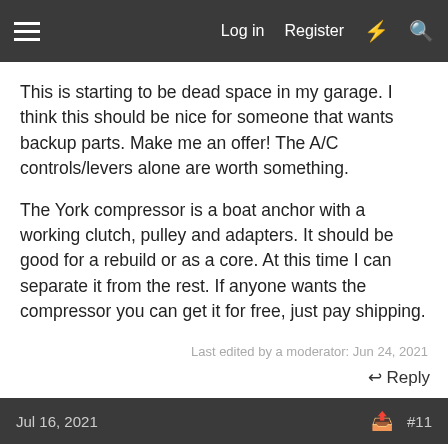Log in  Register
This is starting to be dead space in my garage. I think this should be nice for someone that wants backup parts. Make me an offer! The A/C controls/levers alone are worth something.
The York compressor is a boat anchor with a working clutch, pulley and adapters. It should be good for a rebuild or as a core. At this time I can separate it from the rest. If anyone wants the compressor you can get it for free, just pay shipping.
Last edited by a moderator: Jun 24, 2021
↩ Reply
Jul 16, 2021  #11
tony-muscle
[Figure (infographic): BitLife advertisement banner with rainbow gradient background. Text: WHEN REAL LIFE IS QUARANTINED. BitLife logo with star emoji and thumbs up emoji.]